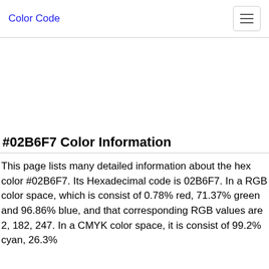Color Code
#02B6F7 Color Information
This page lists many detailed information about the hex color #02B6F7. Its Hexadecimal code is 02B6F7. In a RGB color space, which is consist of 0.78% red, 71.37% green and 96.86% blue, and that corresponding RGB values are 2, 182, 247. In a CMYK color space, it is consist of 99.2% cyan, 26.3%